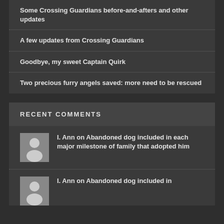Some Crossing Guardians before-and-afters and other updates
A few updates from Crossing Guardians
Goodbye, my sweet Captain Quirk
Two precious furry angels saved: more need to be rescued
RECENT COMMENTS
I. Ann on Abandoned dog included in each major milestone of family that adopted him
I. Ann on Abandoned dog included in